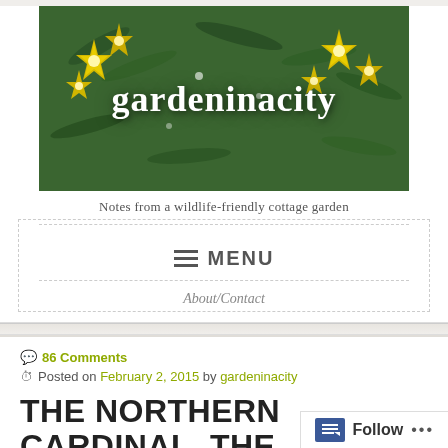[Figure (photo): Banner image of yellow flowers and green foliage with blog title 'gardeninacity' in white serif text overlaid]
gardeninacity
Notes from a wildlife-friendly cottage garden
≡ MENU
About/Contact
86 Comments
Posted on February 2, 2015 by gardeninacity
THE NORTHERN CARDINAL, THE